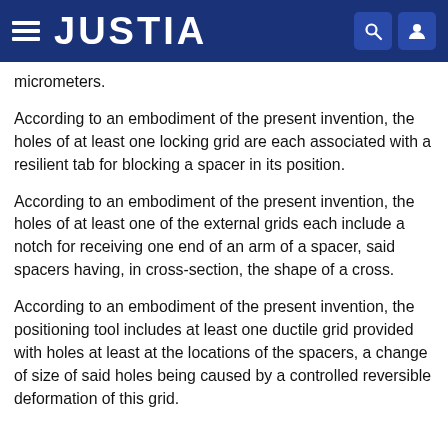JUSTIA
micrometers.
According to an embodiment of the present invention, the holes of at least one locking grid are each associated with a resilient tab for blocking a spacer in its position.
According to an embodiment of the present invention, the holes of at least one of the external grids each include a notch for receiving one end of an arm of a spacer, said spacers having, in cross-section, the shape of a cross.
According to an embodiment of the present invention, the positioning tool includes at least one ductile grid provided with holes at least at the locations of the spacers, a change of size of said holes being caused by a controlled reversible deformation of this grid.